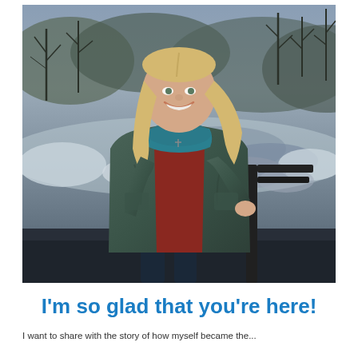[Figure (photo): A smiling middle-aged woman with long blonde hair, wearing a teal/green puffy jacket, red shirt, and blue teal scarf, standing outdoors near a frozen or icy river/creek with bare trees in the background. She is leaning against a dark metal railing.]
I'm so glad that you're here!
I want to share with the story of how myself became the...